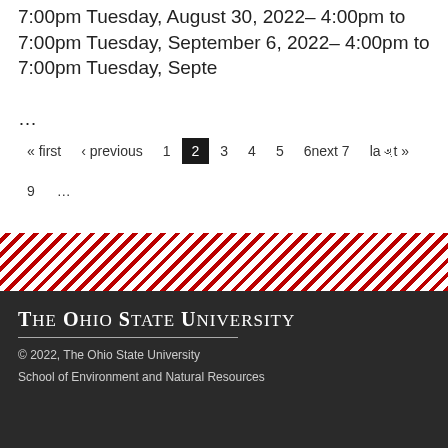7:00pm Tuesday, August 30, 2022– 4:00pm to 7:00pm Tuesday, September 6, 2022– 4:00pm to 7:00pm Tuesday, Septe …
« first ‹ previous 1 2 3 4 5 6next 7 last » 9 ...
[Figure (other): Diagonal red and white stripe decorative band]
The Ohio State University © 2022, The Ohio State University School of Environment and Natural Resources